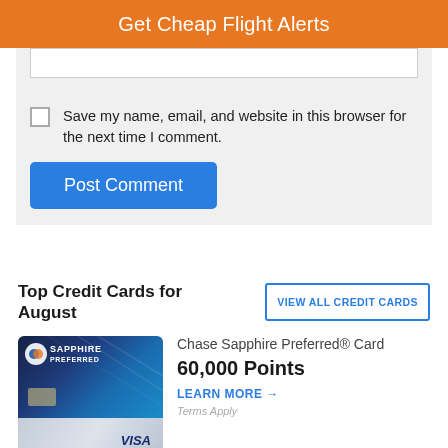Get Cheap Flight Alerts
Save my name, email, and website in this browser for the next time I comment.
Post Comment
Top Credit Cards for August
VIEW ALL CREDIT CARDS
[Figure (photo): Chase Sapphire Preferred credit card image showing dark blue card with Sapphire branding on top and silver/gray visa card on bottom]
Chase Sapphire Preferred® Card
60,000 Points
LEARN MORE →
Terms Apply